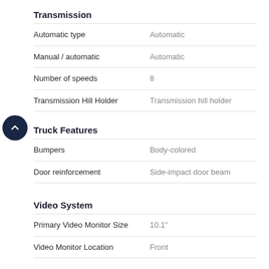Transmission
| Automatic type | Automatic |
| Manual / automatic | Automatic |
| Number of speeds | 8 |
| Transmission Hill Holder | Transmission hill holder |
Truck Features
| Bumpers | Body-colored |
| Door reinforcement | Side-impact door beam |
Video System
| Primary Video Monitor Size | 10.1" |
| Video Monitor Location | Front |
Original Warranty